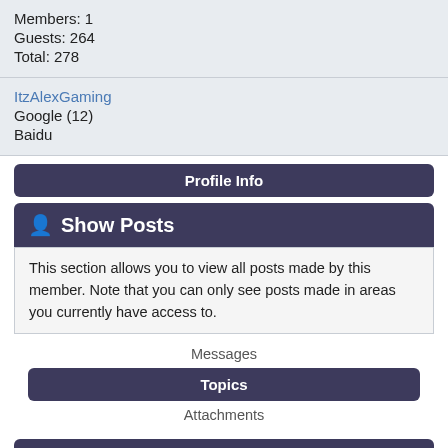Members: 1
Guests: 264
Total: 278
ItzAlexGaming
Google (12)
Baidu
Profile Info
Show Posts
This section allows you to view all posts made by this member. Note that you can only see posts made in areas you currently have access to.
Messages
Topics
Attachments
Topics - Manuster
Pages: [1] 2
1
General Discussion / Sooo...
« on: February 16, 2018, 12:11:11 »